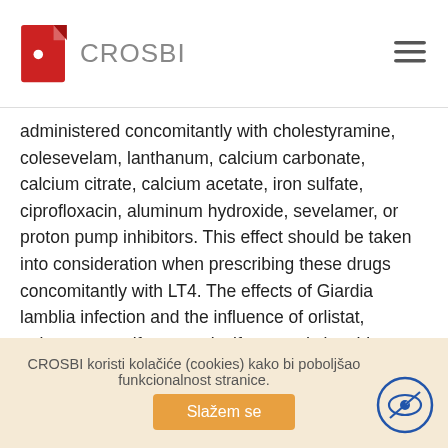CROSBI
administered concomitantly with cholestyramine, colesevelam, lanthanum, calcium carbonate, calcium citrate, calcium acetate, iron sulfate, ciprofloxacin, aluminum hydroxide, sevelamer, or proton pump inhibitors. This effect should be taken into consideration when prescribing these drugs concomitantly with LT4. The effects of Giardia lamblia infection and the influence of orlistat, polystyrene sulfonate, raloxifene, and simethicone on absorption of LT4 have been poorly documented. For bariatric surgery, sucralfate and H2-antagonist interactions are not well founded or contradictory evidence is available regarding their existence ; additional research should be conducted. The majority of the interactions are clinically significant. They are based on the LT4 adsorption on interfering substances in the digestive tract, as well as a consequently reduced amount of the drug available for absorption. These interactions can be avoided by separating the
CROSBI koristi kolačiće (cookies) kako bi poboljšao funkcionalnost stranice.